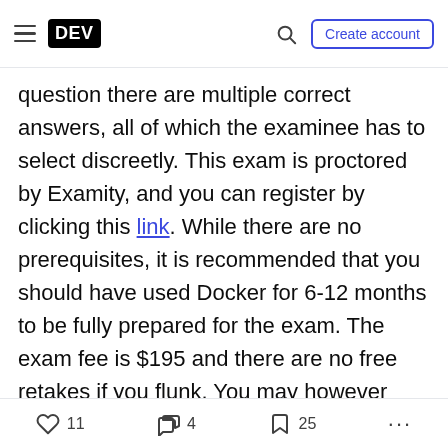DEV — Create account
question there are multiple correct answers, all of which the examinee has to select discreetly. This exam is proctored by Examity, and you can register by clicking this link. While there are no prerequisites, it is recommended that you should have used Docker for 6-12 months to be fully prepared for the exam. The exam fee is $195 and there are no free retakes if you flunk. You may however reschedule the exam prior to taking the test, so don't feel pressured to take the exam unless you are completely ready.
Docker Certified Associate (DCA)
11  4  25  ...